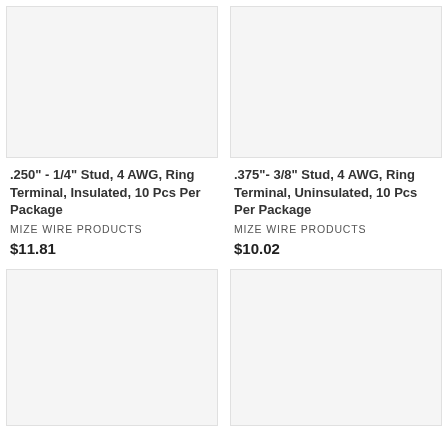[Figure (photo): Product image placeholder for .250" - 1/4" Stud, 4 AWG Ring Terminal]
.250" - 1/4" Stud, 4 AWG, Ring Terminal, Insulated, 10 Pcs Per Package
MIZE WIRE PRODUCTS
$11.81
[Figure (photo): Product image placeholder for .375" - 3/8" Stud, 4 AWG Ring Terminal]
.375"- 3/8" Stud, 4 AWG, Ring Terminal, Uninsulated, 10 Pcs Per Package
MIZE WIRE PRODUCTS
$10.02
[Figure (photo): Product image placeholder bottom-left]
[Figure (photo): Product image placeholder bottom-right]